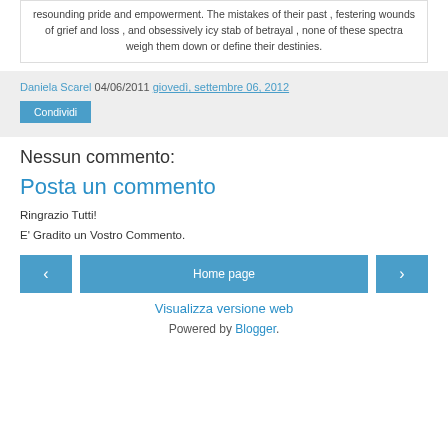resounding pride and empowerment. The mistakes of their past , festering wounds of grief and loss , and obsessively icy stab of betrayal , none of these spectra weigh them down or define their destinies.
Daniela Scarel 04/06/2011 giovedì, settembre 06, 2012
Condividi
Nessun commento:
Posta un commento
Ringrazio Tutti!
E' Gradito un Vostro Commento.
‹  Home page  ›
Visualizza versione web
Powered by Blogger.